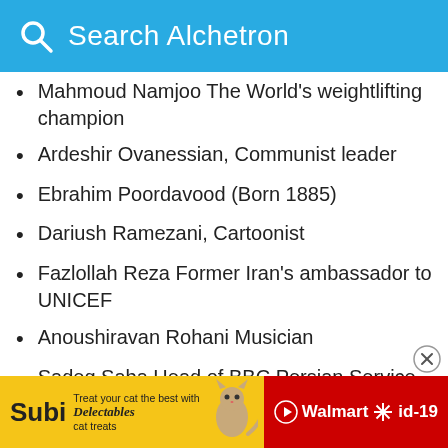Search Alchetron
Mahmoud Namjoo The World's weightlifting champion
Ardeshir Ovanessian, Communist leader
Ebrahim Poordavood (Born 1885)
Dariush Ramezani, Cartoonist
Fazlollah Reza Former Iran's ambassador to UNICEF
Anoushiravan Rohani Musician
Sadeq Saba Head of BBC Persian Service
Marjane Satrapi World award-winning film director
Susan Taslimi Actress
[Figure (screenshot): Advertisement bar at bottom: yellow background with 'Subi' text, 'Treat your cat the best with Delectables cat treats' text and cat image, Walmart logo with 'id-19' on red background]